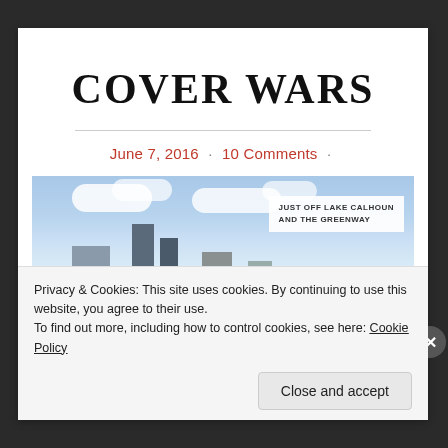COVER WARS
June 7, 2016 · 10 Comments ·
[Figure (photo): Cityscape photo showing buildings against a blue sky with scattered white clouds. A label box in the upper right reads 'JUST OFF LAKE CALHOUN AND THE GREENWAY'.]
Privacy & Cookies: This site uses cookies. By continuing to use this website, you agree to their use.
To find out more, including how to control cookies, see here: Cookie Policy
Close and accept